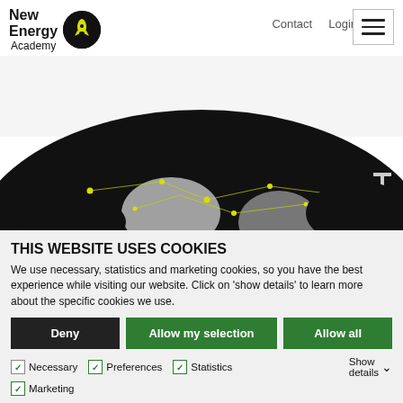Contact  Login  🔍
[Figure (logo): New Energy Academy logo with rocket icon in black circle]
[Figure (illustration): Dark globe/sphere with glowing network connections, black and white with yellow dots]
THIS WEBSITE USES COOKIES
We use necessary, statistics and marketing cookies, so you have the best experience while visiting our website. Click on 'show details' to learn more about the specific cookies we use.
Deny | Allow my selection | Allow all
✓ Necessary  ✓ Preferences  ✓ Statistics  Show details ∨
✓ Marketing